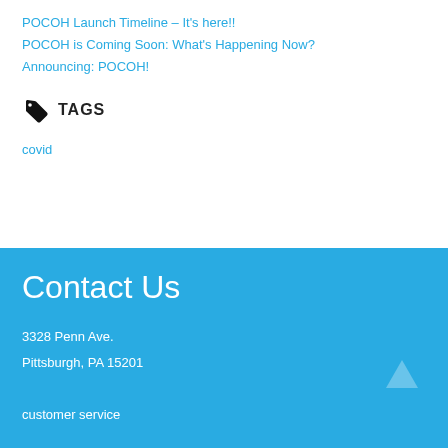POCOH Launch Timeline – It's here!!
POCOH is Coming Soon: What's Happening Now?
Announcing: POCOH!
TAGS
covid
Contact Us
3328 Penn Ave.
Pittsburgh, PA 15201
customer service